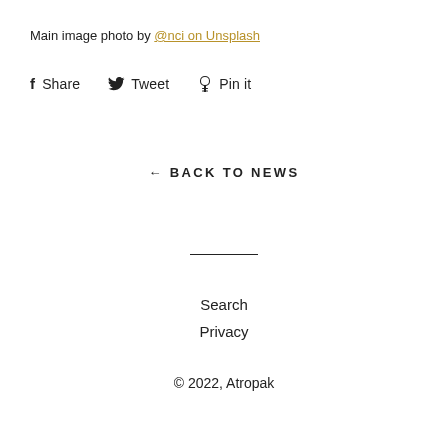Main image photo by @nci on Unsplash
f Share   Tweet   Pin it
← BACK TO NEWS
Search
Privacy
© 2022, Atropak